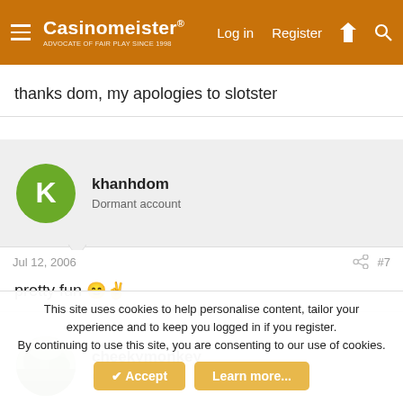Casinomeister — Log in | Register
thanks dom, my apologies to slotster
khanhdom
Dormant account
Jul 12, 2006  #7
pretty fun 😊✌
cheekymonkey
On a Break
Jul 12, 2006  #8
This site uses cookies to help personalise content, tailor your experience and to keep you logged in if you register.
By continuing to use this site, you are consenting to our use of cookies.